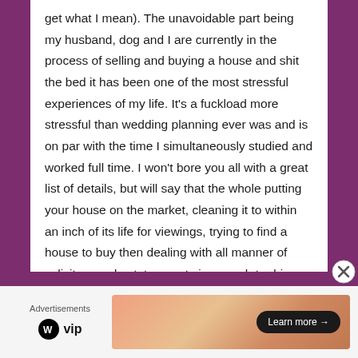get what I mean). The unavoidable part being my husband, dog and I are currently in the process of selling and buying a house and shit the bed it has been one of the most stressful experiences of my life. It's a fuckload more stressful than wedding planning ever was and is on par with the time I simultaneously studied and worked full time. I won't bore you all with a great list of details, but will say that the whole putting your house on the market, cleaning it to within an inch of its life for viewings, trying to find a house to buy then dealing with all manner of solicitors and estate agents is enough to drive this poor cow round the twist. Naturally, the whole rigmarole around the moving process has massively eaten in to a hefty chunk of my training time, and when I do
[Figure (other): Advertisements section with WordPress VIP logo on left and an orange gradient banner ad with 'Learn more →' button on right]